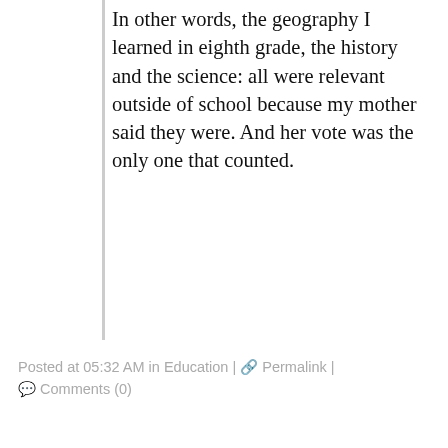In other words, the geography I learned in eighth grade, the history and the science: all were relevant outside of school because my mother said they were. And her vote was the only one that counted.
Posted at 05:32 AM in Education | 🔗 Permalink | 💬 Comments (0)
Wouldn't it be great if Moore's Law applied to everything?
March 31, 2010